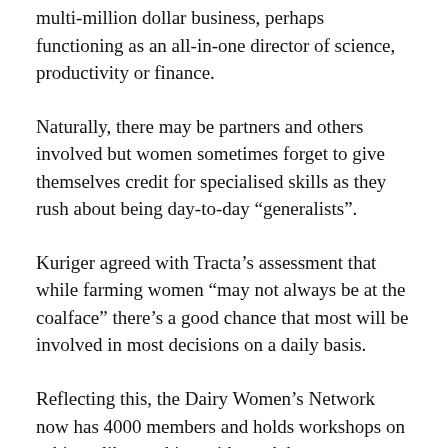multi-million dollar business, perhaps functioning as an all-in-one director of science, productivity or finance.
Naturally, there may be partners and others involved but women sometimes forget to give themselves credit for specialised skills as they rush about being day-to-day “generalists”.
Kuriger agreed with Tracta’s assessment that while farming women “may not always be at the coalface” there’s a good chance that most will be involved in most decisions on a daily basis.
Reflecting this, the Dairy Women’s Network now has 4000 members and holds workshops on subjects like working with stock buyers.
Her sense was generally that women are getting a lot